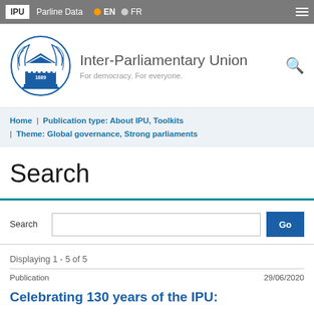IPU | Parline Data | EN | FR
[Figure (logo): Inter-Parliamentary Union circular logo with parliament building and laurel wreath, dated 1889, in blue]
Inter-Parliamentary Union
For democracy. For everyone.
Home | Publication type: About IPU, Toolkits | Theme: Global governance, Strong parliaments
Search
Search [input box] Go
Displaying 1 - 5 of 5
Publication	29/06/2020
Celebrating 130 years of the IPU: